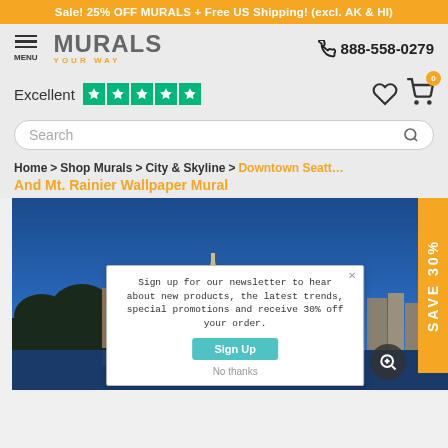Sale! 25% OFF MURALS + Free US Shipping! (excl. AK & HI)
[Figure (logo): Murals Your Way logo with hamburger menu and phone number 888-558-0279]
[Figure (infographic): Excellent rating with 5 green Trustpilot stars, heart icon and shopping cart with badge 0]
Search
Home > Shop Murals > City & Skyline > Downtown Seattle And Mt. Rainier Wallpaper Mural
Downtown Seattle And Mt. Rainier Wallpaper Mural
[Figure (photo): Downtown Seattle skyline with Space Needle and Mt. Rainier in background at dusk/evening. Newsletter popup overlay: Sign up for our newsletter to hear about new products, the latest trends, special promotions and receive 30% off your order. Sign Up button and No thanks link. SAVE 30% vertical tab on right side.]